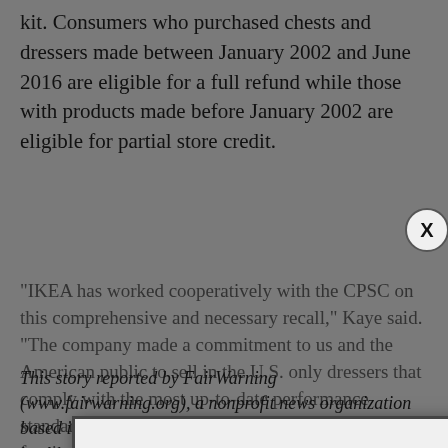kit. Consumers who purchased chests and dressers made between January 2002 and June 2016 are eligible for a full refund while those with products made before January 2002 are eligible for partial store credit.
"IKEA has worked cooperatively with the CPSC on this comprehensive and necessary recall," Kaye said. "The company made a commitment to us and the American public to sell in the U.S. only dressers that comply with the most up-to-date performance standards for furniture stability. I fully expect all furniture companies to do the same. Those failing to do so should pay close attention to the details of this recall, as they should expect to be hearing from us."
[Figure (screenshot): Modal popup dialog: Subscribe to News Updates! with subtitle 'Subscribe to our free newsletter', two text input fields (email, first name), and a Subscribe button. Close button (X) in top right corner.]
This story reported by FairWarning (www.fairwarning.org), a nonprofit news organization based in Pasadena, California, that focuses on public health, safety and environmental